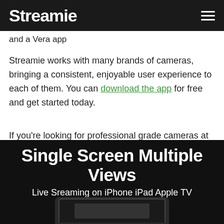Streamie
and a Vera app
Streamie works with many brands of cameras, bringing a consistent, enjoyable user experience to each of them. You can download the app for free and get started today.
If you’re looking for professional grade cameras at an affordable price, we also sell bundles with everything you need to get up-and-running including our legendary customer support.
Single Screen Multiple Views
Live Sreaming on iPhone iPad Apple TV
[Figure (photo): Photo of a phone/iPad device partially visible at the bottom of the page, on a dark background]